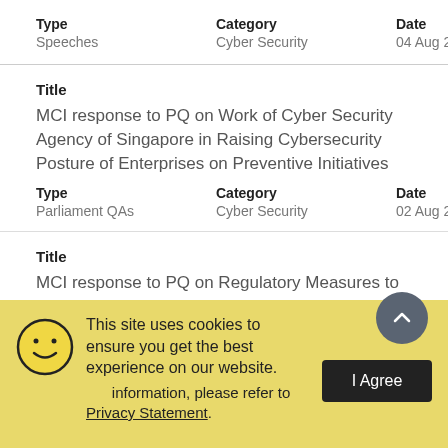| Type | Category | Date |
| --- | --- | --- |
| Speeches | Cyber Security | 04 Aug 22 |
Title
MCI response to PQ on Work of Cyber Security Agency of Singapore in Raising Cybersecurity Posture of Enterprises on Preventive Initiatives
| Type | Category | Date |
| --- | --- | --- |
| Parliament QAs | Cyber Security | 02 Aug 22 |
Title
MCI response to PQ on Regulatory Measures to Pre... and Block Unsolicited Messages on Unlicensed Loans and
This site uses cookies to ensure you get the best experience on our website. For more information, please refer to Privacy Statement.